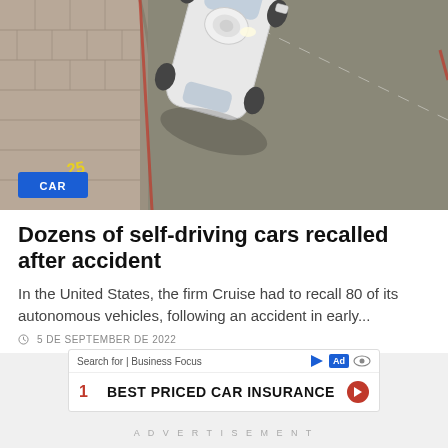[Figure (photo): Aerial view of a white self-driving car with sensors on the roof, photographed from above on a street with a curb and brick sidewalk. A yellow marker '25' is visible on the pavement. A blue 'CAR' badge overlays the bottom-left of the image.]
Dozens of self-driving cars recalled after accident
In the United States, the firm Cruise had to recall 80 of its autonomous vehicles, following an accident in early...
5 DE SEPTEMBER DE 2022
Search for | Business Focus
1    BEST PRICED CAR INSURANCE
ADVERTISEMENT